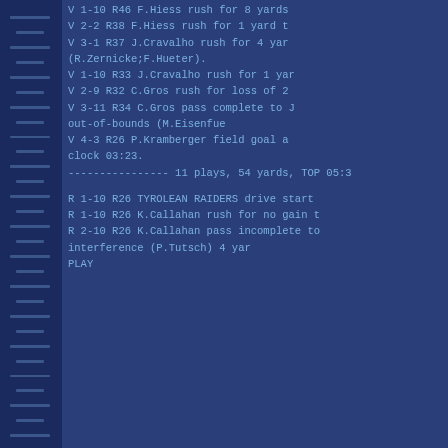V 1-10 R46  F.Hiess rush for 8 yards
V 2-2  R38  F.Hiess rush for 1 yard t
V 3-1  R37  J.Cravalho rush for 4 yar
(R.Zernicke;F.Hueter).
V 1-10 R33  J.Cravalho rush for 1 yar
V 2-9  R32  C.Gros rush for loss of 2
V 3-11 R34  C.Gros pass complete to J
out-of-bounds (M.Eisenfue
V 4-3  R26  P.Kramberger field goal a
clock 03:23.
---------------- 11 plays, 54 yards, TOP 05:3
R 1-10 R26  TYROLEAN RAIDERS drive start
R 1-10 R26  K.Callahan rush for no gain t
R 2-10 R26  K.Callahan pass incomplete to
interference (P.Tutsch) 4 yar
PLAY